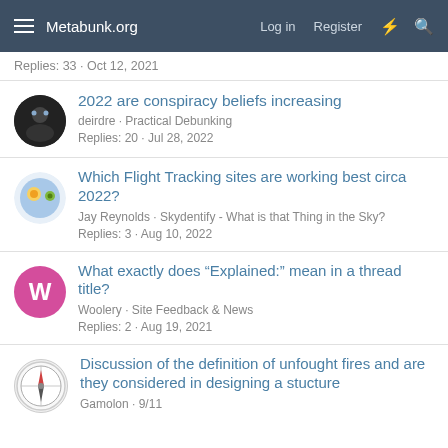Metabunk.org  Log in  Register
Replies: 33 · Oct 12, 2021
2022 are conspiracy beliefs increasing
deirdre · Practical Debunking
Replies: 20 · Jul 28, 2022
Which Flight Tracking sites are working best circa 2022?
Jay Reynolds · Skydentify - What is that Thing in the Sky?
Replies: 3 · Aug 10, 2022
What exactly does "Explained:" mean in a thread title?
Woolery · Site Feedback & News
Replies: 2 · Aug 19, 2021
Discussion of the definition of unfought fires and are they considered in designing a stucture
Gamolon · 9/11